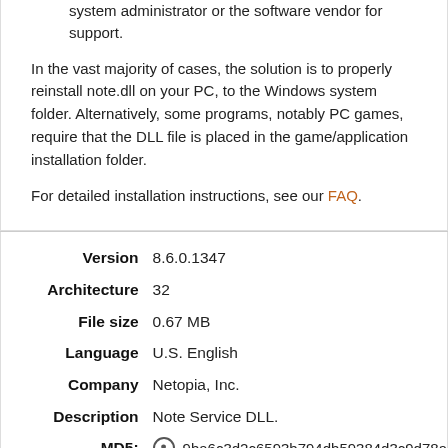system administrator or the software vendor for support.
In the vast majority of cases, the solution is to properly reinstall note.dll on your PC, to the Windows system folder. Alternatively, some programs, notably PC games, require that the DLL file is placed in the game/application installation folder.
For detailed installation instructions, see our FAQ.
| Label | Value |
| --- | --- |
| Version | 8.6.0.1347 |
| Architecture | 32 |
| File size | 0.67 MB |
| Language | U.S. English |
| Company | Netopia, Inc. |
| Description | Note Service DLL. |
| MD5: | 9ba6c3d2c6593b794db59384d3c9d78a |